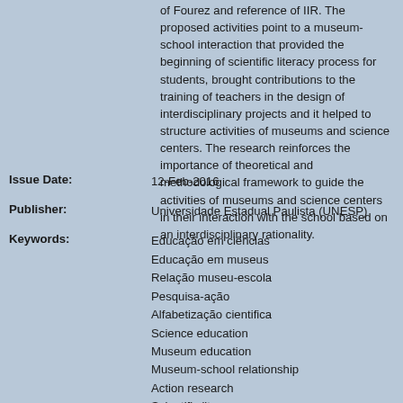of Fourez and reference of IIR. The proposed activities point to a museum-school interaction that provided the beginning of scientific literacy process for students, brought contributions to the training of teachers in the design of interdisciplinary projects and it helped to structure activities of museums and science centers. The research reinforces the importance of theoretical and methodological framework to guide the activities of museums and science centers in their interaction with the school based on an interdisciplinary rationality.
Issue Date: 12-Feb-2016
Publisher: Universidade Estadual Paulista (UNESP)
Keywords: Educação em ciências; Educação em museus; Relação museu-escola; Pesquisa-ação; Alfabetização cientifica; Science education; Museum education; Museum-school relationship; Action research; Scientific literacy